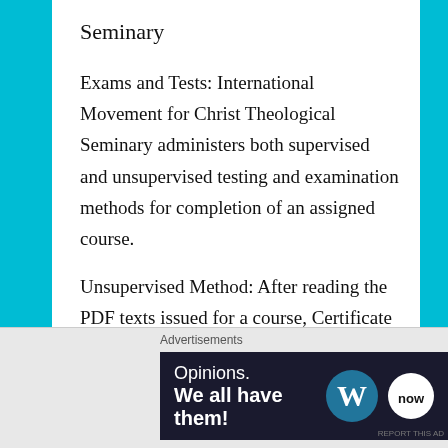Seminary
Exams and Tests: International Movement for Christ Theological Seminary administers both supervised and unsupervised testing and examination methods for completion of an assigned course.
Unsupervised Method: After reading the PDF texts issued for a course, Certificate and Bachelor’s degree students are required to write a five-page essay summarizing what they have learned. Master’s and Doctorate degree students are required to submit a twelve-page essay. For Certificate and Bachelor’s
[Figure (other): Advertisement banner: dark navy background with text 'Opinions. We all have them!' and WordPress and WordNow logos]
Advertisements